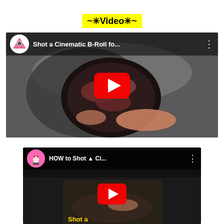~✳Video✳~
[Figure (screenshot): YouTube video thumbnail for 'Shot a Cinematic B-Roll fo...' with a channel logo (pink/white triangular design), a play button, and a dark food photography image showing raw meat in a bowl with hands.]
[Figure (screenshot): YouTube video thumbnail for 'HOW to Shot ▲ Ci...' with a pink anime character channel logo, a play button, and a dark behind-the-scenes food photography image with 'Shot a' text visible.]